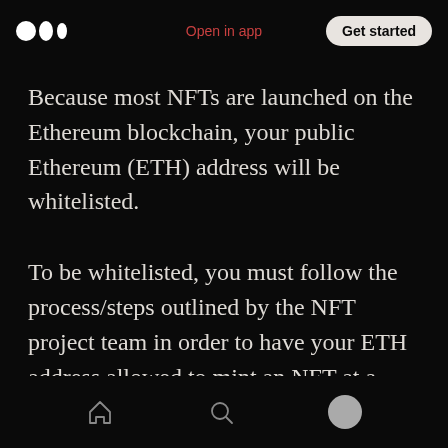Open in app  Get started
Because most NFTs are launched on the Ethereum blockchain, your public Ethereum (ETH) address will be whitelisted.
To be whitelisted, you must follow the process/steps outlined by the NFT project team in order to have your ETH address allowed to mint an NFT at a specific day and time.
Home  Search  Profile